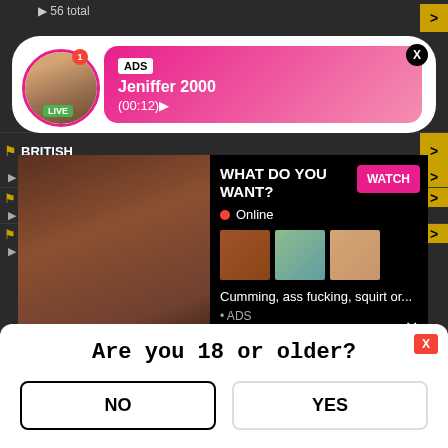56 total
[Figure (screenshot): Ad popup with profile photo, LIVE badge, ADS tag, name Jeniffer 2000, time (00:12), pink gradient background, close X button]
BRITISH
3...
[Figure (screenshot): Video ad overlay: explicit video thumbnail on left, right panel with WHAT DO YOU WANT? heading, WATCH button, Online status, three thumbnail images, text Cumming, ass fucking, squirt or... ADS]
BABYSITTER
18 total
NIPPL
338 to
BABE
206 to
[Figure (screenshot): Age verification popup: Are you 18 or older? with NO and YES buttons, red X close button]